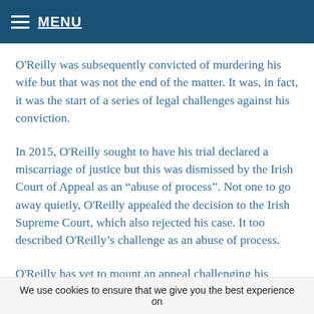MENU
O'Reilly was subsequently convicted of murdering his wife but that was not the end of the matter. It was, in fact, it was the start of a series of legal challenges against his conviction.
In 2015, O'Reilly sought to have his trial declared a miscarriage of justice but this was dismissed by the Irish Court of Appeal as an “abuse of process”. Not one to go away quietly, O'Reilly appealed the decision to the Irish Supreme Court, which also rejected his case. It too described O'Reilly’s challenge as an abuse of process.
O'Reilly has yet to mount an appeal challenging his conviction to the European Courts of Human Rights but
We use cookies to ensure that we give you the best experience on